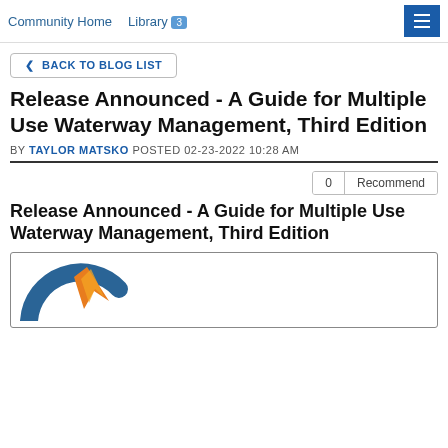Community Home   Library 3
< BACK TO BLOG LIST
Release Announced - A Guide for Multiple Use Waterway Management, Third Edition
BY TAYLOR MATSKO POSTED 02-23-2022 10:28 AM
0   Recommend
Release Announced - A Guide for Multiple Use Waterway Management, Third Edition
[Figure (logo): Partial compass rose logo with blue circular arc and orange/yellow arrow shapes, partially visible at bottom of page]